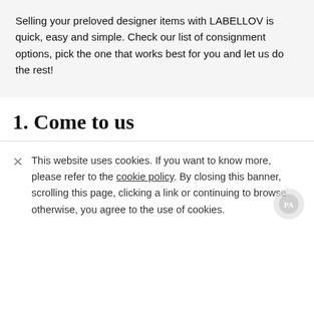Selling your preloved designer items with LABELLOV is quick, easy and simple. Check our list of consignment options, pick the one that works best for you and let us do the rest!
1. Come to us
This website uses cookies. If you want to know more, please refer to the cookie policy. By closing this banner, scrolling this page, clicking a link or continuing to browse otherwise, you agree to the use of cookies.